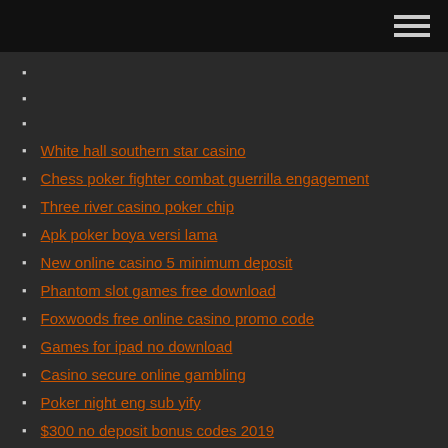[navigation menu header bar]
White hall southern star casino
Chess poker fighter combat guerrilla engagement
Three river casino poker chip
Apk poker boya versi lama
New online casino 5 minimum deposit
Phantom slot games free download
Foxwoods free online casino promo code
Games for ipad no download
Casino secure online gambling
Poker night eng sub yify
$300 no deposit bonus codes 2019